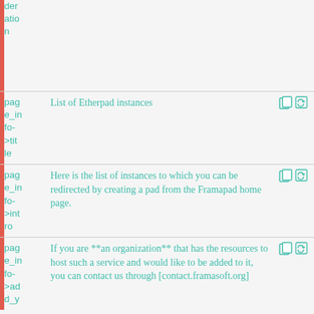| (left-bar) | key | value | icons |
| --- | --- | --- | --- |
|  | der
atio
n |  |  |
|  | page_info->title | List of Etherpad instances | copy/link |
|  | page_info->intro | Here is the list of instances to which you can be redirected by creating a pad from the Framapad home page. | copy/link |
|  | page_info->add_y | If you are **an organization** that has the resources to host such a service and would like to be added to it, you can contact us through [contact.framasoft.org] | copy/link |